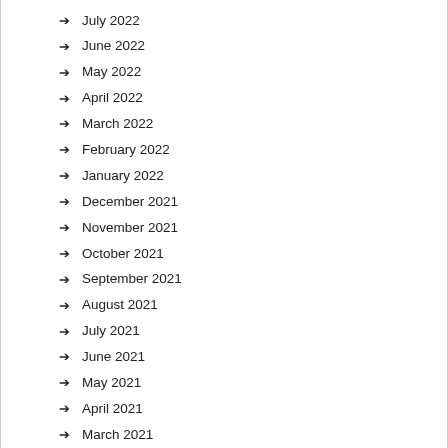July 2022
June 2022
May 2022
April 2022
March 2022
February 2022
January 2022
December 2021
November 2021
October 2021
September 2021
August 2021
July 2021
June 2021
May 2021
April 2021
March 2021
February 2021